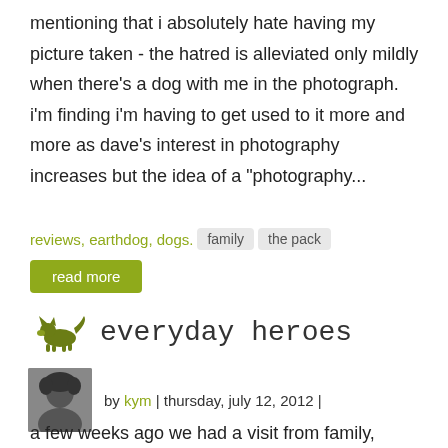mentioning that i absolutely hate having my picture taken - the hatred is alleviated only mildly when there's a dog with me in the photograph.  i'm finding i'm having to get used to it more and more as dave's interest in photography increases but the idea of a "photography...
reviews, earthdog, dogs.   family   the pack
read more
everyday heroes
by kym | thursday, july 12, 2012 |
a few weeks ago we had a visit from family, including our